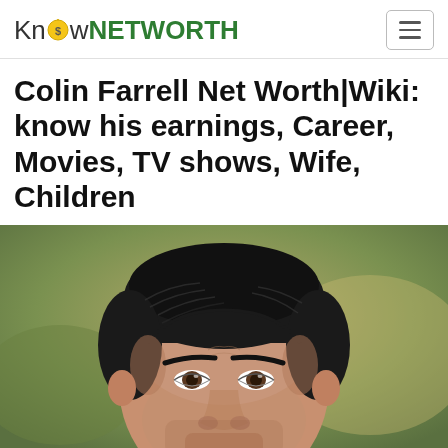KnowNETWORTH
Colin Farrell Net Worth|Wiki: know his earnings, Career, Movies, TV shows, Wife, Children
[Figure (photo): Close-up portrait photo of Colin Farrell, a man with dark slicked-back hair, dark eyebrows, against a blurred outdoor background]